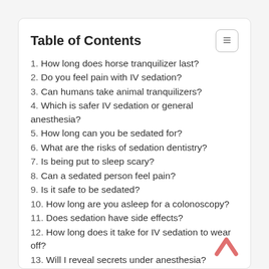Table of Contents
1. How long does horse tranquilizer last?
2. Do you feel pain with IV sedation?
3. Can humans take animal tranquilizers?
4. Which is safer IV sedation or general anesthesia?
5. How long can you be sedated for?
6. What are the risks of sedation dentistry?
7. Is being put to sleep scary?
8. Can a sedated person feel pain?
9. Is it safe to be sedated?
10. How long are you asleep for a colonoscopy?
11. Does sedation have side effects?
12. How long does it take for IV sedation to wear off?
13. Will I reveal secrets under anesthesia?
14. What happens when you take tranquilizers?